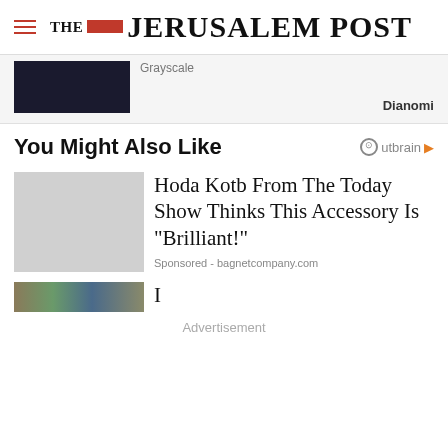THE JERUSALEM POST
Grayscale
Dianomi
You Might Also Like
Outbrain
Hoda Kotb From The Today Show Thinks This Accessory Is "Brilliant!"
Sponsored - bagnetcompany.com
Advertisement